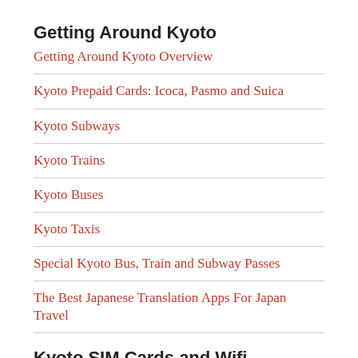Getting Around Kyoto
Getting Around Kyoto Overview
Kyoto Prepaid Cards: Icoca, Pasmo and Suica
Kyoto Subways
Kyoto Trains
Kyoto Buses
Kyoto Taxis
Special Kyoto Bus, Train and Subway Passes
The Best Japanese Translation Apps For Japan Travel
Kyoto SIM Cards and Wifi